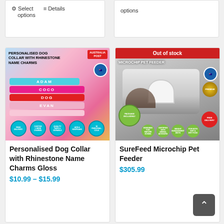Select options   Details
options
[Figure (photo): Personalised Dog Collar with Rhinestone Name Charms product image showing colourful dog collars with rhinestone name letters]
Personalised Dog Collar with Rhinestone Name Charms Gloss
$10.99 – $15.99
[Figure (photo): SureFeed Microchip Pet Feeder product image showing a cat using the feeder with an Out of stock banner]
SureFeed Microchip Pet Feeder
$305.99